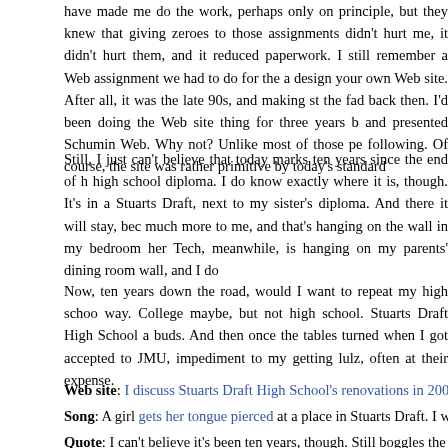have made me do the work, perhaps only on principle, but they knew that giving zeroes to those assignments didn't hurt me, it didn't hurt them, and it reduced paperwork. I still remember a Web assignment we had to do for the a design your own Web site. After all, it was the late 90s, and making st the fad back then. I'd been doing the Web site thing for three years b and presented Schumin Web. Why not? Unlike most of those pe following. Of course, the site was rather primitive by today's standard
Still, I just can't believe that today marks ten years since the end of h high school diploma. I do know exactly where it is, though. It's in a Stuarts Draft, next to my sister's diploma. And there it will stay, bec much more to me, and that's hanging on the wall in my bedroom her Tech, meanwhile, is hanging on my parents' dining room wall, and I do
Now, ten years down the road, would I want to repeat my high schoo way. College maybe, but not high school. Stuarts Draft High School a buds. And then once the tables turned when I got accepted to JMU, impediment to my getting lulz, often at their expense.
Web site: I discuss Stuarts Draft High School's renovations in 2006-2
Song: A girl gets her tongue pierced at a place in Stuarts Draft. I wou
Quote: I can't believe it's been ten years, though. Still boggles the m
Categories: High school